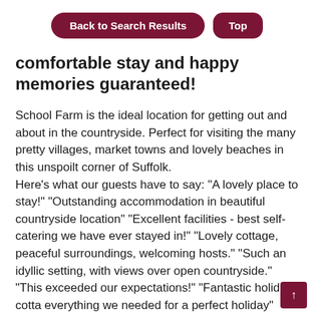Back to Search Results | Top
comfortable stay and happy memories guaranteed!
School Farm is the ideal location for getting out and about in the countryside. Perfect for visiting the many pretty villages, market towns and lovely beaches in this unspoilt corner of Suffolk.
Here's what our guests have to say: "A lovely place to stay!" "Outstanding accommodation in beautiful countryside location" "Excellent facilities - best self-catering we have ever stayed in!" "Lovely cottage, peaceful surroundings, welcoming hosts." "Such an idyllic setting, with views over open countryside." "This exceeded our expectations!" "Fantastic holiday cotta everything we needed for a perfect holiday" "Peaceful,